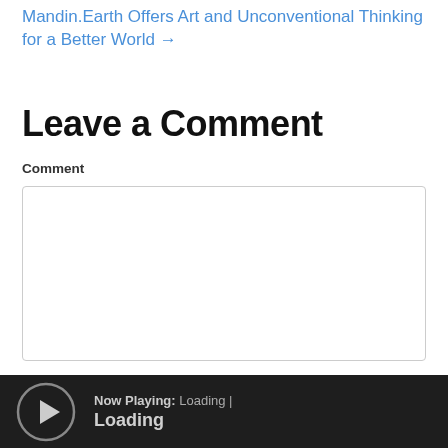Mandin.Earth Offers Art and Unconventional Thinking for a Better World →
Leave a Comment
Comment
[Figure (screenshot): Empty comment text area input box with light gray border]
Now Playing: Loading | Loading